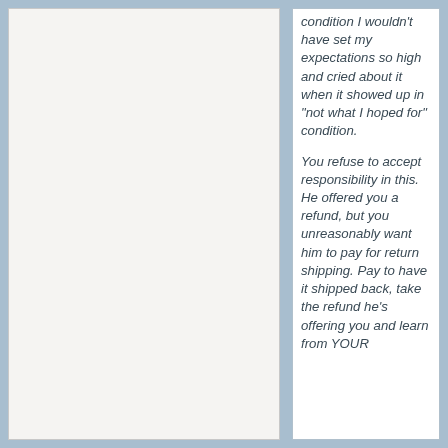condition I wouldn't have set my expectations so high and cried about it when it showed up in "not what I hoped for" condition.

You refuse to accept responsibility in this. He offered you a refund, but you unreasonably want him to pay for return shipping. Pay to have it shipped back, take the refund he's offering you and learn from YOUR